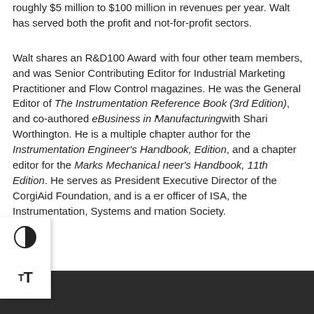roughly $5 million to $100 million in revenues per year. Walt has served both the profit and not-for-profit sectors.
Walt shares an R&D100 Award with four other team members, and was Senior Contributing Editor for Industrial Marketing Practitioner and Flow Control magazines. He was the General Editor of The Instrumentation Reference Book (3rd Edition), and co-authored eBusiness in Manufacturingwith Shari Worthington. He is a multiple chapter author for the Instrumentation Engineer's Handbook, Edition, and a chapter editor for the Marks Mechanical neer's Handbook, 11th Edition. He serves as President Executive Director of the CorgiAid Foundation, and is a er officer of ISA, the Instrumentation, Systems and mation Society.